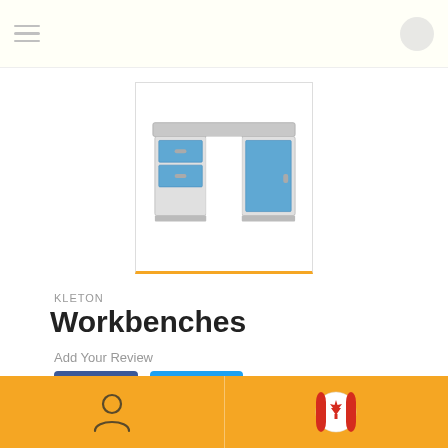[Figure (screenshot): Top navigation bar with hamburger menu icon on left and circular icon on right, light cream background]
[Figure (photo): Product image of a grey and blue industrial workbench with drawers and cabinet door, shown inside a white bordered box with orange bottom border]
KLETON
Workbenches
Add Your Review
[Figure (infographic): Facebook Share button (dark blue) and Twitter Tweet button (light blue) side by side]
2500 lbs., Door & Drawers, 34", 60", 36"
[Figure (infographic): Yellow/orange footer bar with person icon on left half and Canadian flag icon on right half]